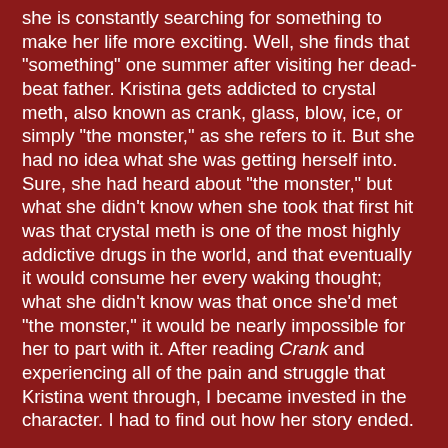she is constantly searching for something to make her life more exciting. Well, she finds that "something" one summer after visiting her dead-beat father. Kristina gets addicted to crystal meth, also known as crank, glass, blow, ice, or simply "the monster," as she refers to it. But she had no idea what she was getting herself into. Sure, she had heard about "the monster," but what she didn't know when she took that first hit was that crystal meth is one of the most highly addictive drugs in the world, and that eventually it would consume her every waking thought; what she didn't know was that once she'd met "the monster," it would be nearly impossible for her to part with it. After reading Crank and experiencing all of the pain and struggle that Kristina went through, I became invested in the character. I had to find out how her story ended.
Now I know what you're probably thinking: This book is 680 pages long and it's poetry…I don't know if I can really get into that. Well, don't be put off by the daunting size of this beautifully written novel because, believe me, it's worth getting into.